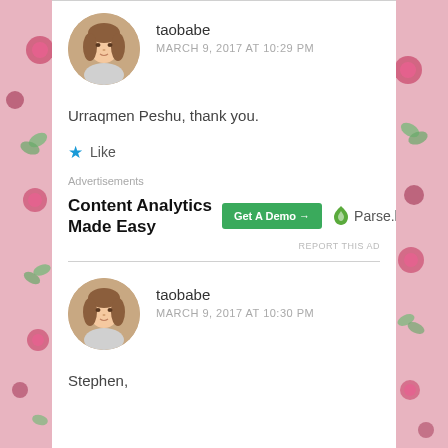taobabe
MARCH 9, 2017 AT 10:29 PM
Urraqmen Peshu, thank you.
Like
Advertisements
[Figure (other): Advertisement banner: 'Content Analytics Made Easy' with a green 'Get A Demo →' button and Parse.ly logo/brand]
REPORT THIS AD
taobabe
MARCH 9, 2017 AT 10:30 PM
Stephen,